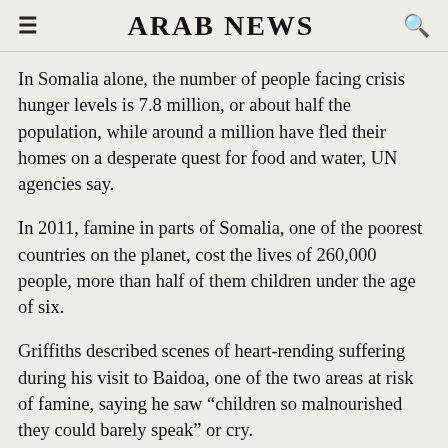ARAB NEWS
In Somalia alone, the number of people facing crisis hunger levels is 7.8 million, or about half the population, while around a million have fled their homes on a desperate quest for food and water, UN agencies say.
In 2011, famine in parts of Somalia, one of the poorest countries on the planet, cost the lives of 260,000 people, more than half of them children under the age of six.
Griffiths described scenes of heart-rending suffering during his visit to Baidoa, one of the two areas at risk of famine, saying he saw “children so malnourished they could barely speak” or cry.